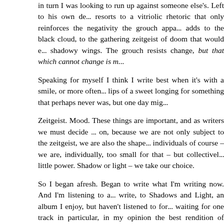in turn I was looking to run up against someone else's. Left to his own de... resorts to a vitriolic rhetoric that only reinforces the negativity the grouch appa... adds to the black cloud, to the gathering zeitgeist of doom that would e... shadowy wings. The grouch resists change, but that which cannot change is m...
Speaking for myself I think I write best when it's with a smile, or more often... lips of a sweet longing for something that perhaps never was, but one day mig...
Zeitgeist. Mood. These things are important, and as writers we must decide ... on, because we are not only subject to the zeitgeist, we are also the shape... individuals of course – we are, individually, too small for that – but collectively... little power. Shadow or light – we take our choice.
So I began afresh. Began to write what I'm writing now. And I'm listening to a... write, to Shadows and Light, an album I enjoy, but haven't listened to for... waiting for one track in particular, in my opinion the best rendition of "Ame... Mitchel's recordings. And in it there's this one line. She sings:
It was the Hexagram of the Heavens, the strings of this guitar,...
The Hexagram of the Heavens is a reference to the Yjing, the ancient Chines... in western counterculture around the time of this song's writing, popular still... wanderers and psychological depth workers. That's why Jung gave me the th... me going; it's how you consult it, after first suspending disbelief and being a... dissolve your own prejudice.
The Hexagram of Heavens is also translated as "the Creative". It describ...